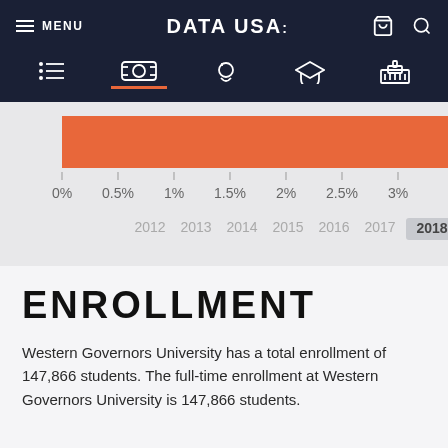MENU | DATA USA: | (cart icon) (search icon)
[Figure (bar-chart): Enrollment percentage over years]
ENROLLMENT
Western Governors University has a total enrollment of 147,866 students. The full-time enrollment at Western Governors University is 147,866 students.